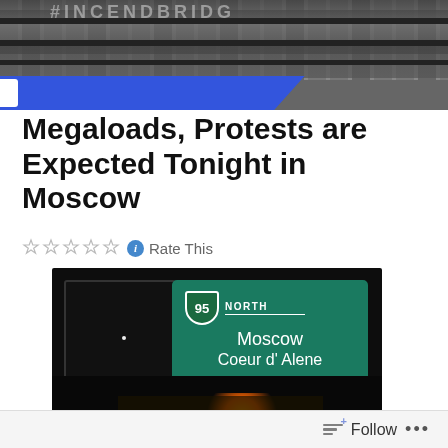[Figure (photo): Header image showing railroad tracks with gravel, with a blue banner across the bottom portion, appearing to be from a news website header]
Megaloads, Protests are Expected Tonight in Moscow
Rate This
[Figure (photo): Nighttime photo of a highway road sign showing US Route 95 North towards Moscow and Coeur d'Alene, with a bright orange glow and heavy truck visible in the lower portion]
Follow ...